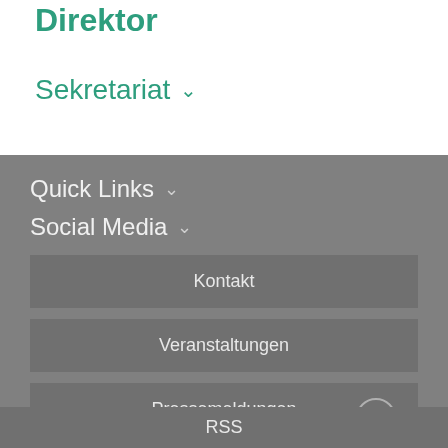Direktor
Sekretariat ∨
Quick Links ∨
Social Media ∨
Kontakt
Veranstaltungen
Pressemeldungen
Studiengesuche
RSS